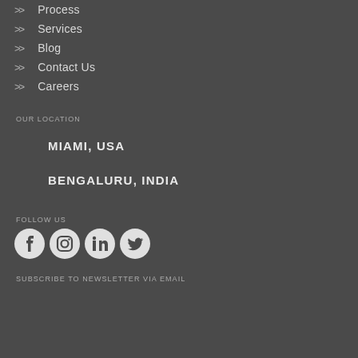>> Process
>> Services
>> Blog
>> Contact Us
>> Careers
OUR LOCATION
MIAMI, USA
BENGALURU, INDIA
FOLLOW US
[Figure (infographic): Social media icons: Facebook, Instagram, LinkedIn, Twitter]
SUBSCRIBE TO NEWSLETTER VIA EMAIL